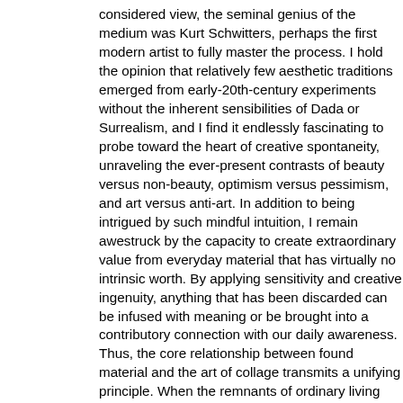considered view, the seminal genius of the medium was Kurt Schwitters, perhaps the first modern artist to fully master the process. I hold the opinion that relatively few aesthetic traditions emerged from early-20th-century experiments without the inherent sensibilities of Dada or Surrealism, and I find it endlessly fascinating to probe toward the heart of creative spontaneity, unraveling the ever-present contrasts of beauty versus non-beauty, optimism versus pessimism, and art versus anti-art. In addition to being intrigued by such mindful intuition, I remain awestruck by the capacity to create extraordinary value from everyday material that has virtually no intrinsic worth. By applying sensitivity and creative ingenuity, anything that has been discarded can be infused with meaning or be brought into a contributory connection with our daily awareness. Thus, the core relationship between found material and the art of collage transmits a unifying principle. When the remnants of ordinary living are physically re-purposed to inevitably resolve their unique compositional harmony, the underlying link between visual form and symbolic communication is revealed. When the literal characteristics of the ingredient elements are successfully transcended, a culminating artifact offers the potential for a shared experience with each participating observer. I am convinced that the resulting totality of emotional impressions and layered associations derive more from a deeper artistic intent than from conscious decision making. As in most improvisational activity, there is ample opportunity for surprise, amusement, mystery, intrigue, discovery, and